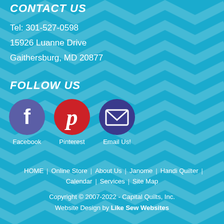CONTACT US
Tel: 301-527-0598
15926 Luanne Drive
Gaithersburg, MD 20877
FOLLOW US
[Figure (infographic): Three social media icons: Facebook (purple circle with 'f'), Pinterest (red circle with 'P'), and Email Us! (purple circle with envelope). Each has a label below.]
HOME | Online Store | About Us | Janome | Handi Quilter | Calendar | Services | Site Map
Copyright © 2007-2022 - Capital Quilts, Inc.
Website Design by Like Sew Websites